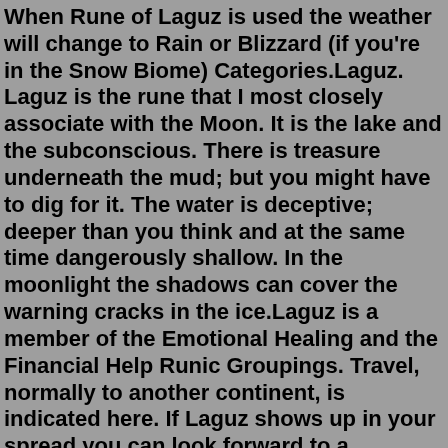When Rune of Laguz is used the weather will change to Rain or Blizzard (if you're in the Snow Biome) Categories.Laguz. Laguz is the rune that I most closely associate with the Moon. It is the lake and the subconscious. There is treasure underneath the mud; but you might have to dig for it. The water is deceptive; deeper than you think and at the same time dangerously shallow. In the moonlight the shadows can cover the warning cracks in the ice.Laguz is a member of the Emotional Healing and the Financial Help Runic Groupings. Travel, normally to another continent, is indicated here. If Laguz shows up in your spread you can look forward to a physical journey, especially over water. But don't forget the journey within, the flow of the personal self that Laguz calls you to undertake.For some commentators, the Laguz rune also represents Frigga's magic spindle upon which the threads of Wyrd are spun. In this sense Laguz represents not just the flow of Wyrd, but also the power to shape and form our own destinies. Work with and meditate on